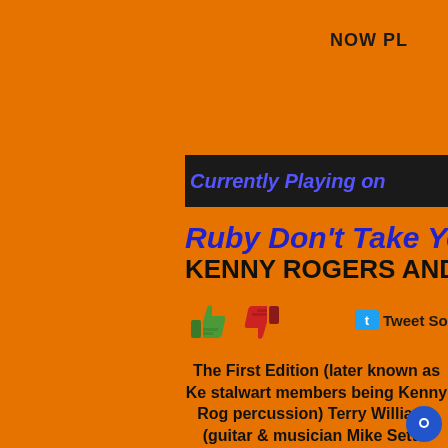NOW PL
Currently Playing on
Ruby Don't Take Yo
KENNY ROGERS AND
[Figure (illustration): Thumbs up (green) and thumbs down (red) icons for song rating]
Tweet Son
The First Edition (later known as Ke stalwart members being Kenny Rog percussion) Terry Williams (guitar & musician Mike Settle (guitar, vocal Thelma Camacho completing the lin and recorded the pop-psychedelic s Condition was